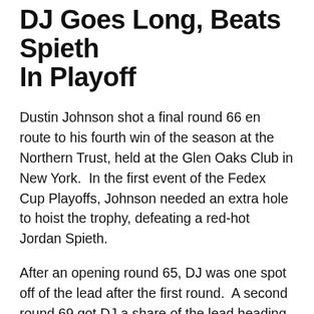DJ Goes Long, Beats Spieth In Playoff
Dustin Johnson shot a final round 66 en route to his fourth win of the season at the Northern Trust, held at the Glen Oaks Club in New York. In the first event of the Fedex Cup Playoffs, Johnson needed an extra hole to hoist the trophy, defeating a red-hot Jordan Spieth.
After an opening round 65, DJ was one spot off of the lead after the first round. A second round 69 got DJ a share of the lead heading to the weekend. A Saturday 67 put DJ three shots back of Spieth heading into the final round. Spieth, who had converted nine of the last ten 54 hole leads on Tour, was in prime position to take victory.